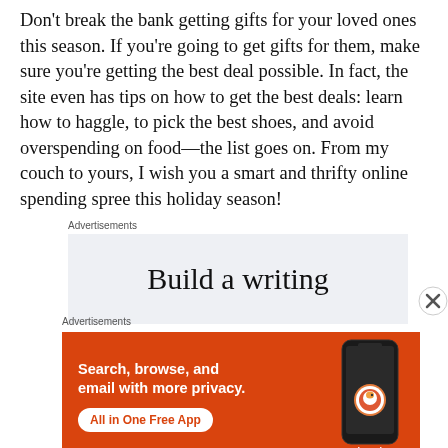Don't break the bank getting gifts for your loved ones this season. If you're going to get gifts for them, make sure you're getting the best deal possible. In fact, the site even has tips on how to get the best deals: learn how to haggle, to pick the best shoes, and avoid overspending on food—the list goes on. From my couch to yours, I wish you a smart and thrifty online spending spree this holiday season!
Advertisements
[Figure (screenshot): White/light grey advertisement box with text 'Build a writing' visible, partially cropped]
Advertisements
[Figure (screenshot): DuckDuckGo advertisement on orange background: 'Search, browse, and email with more privacy. All in One Free App' with phone image and DuckDuckGo logo]